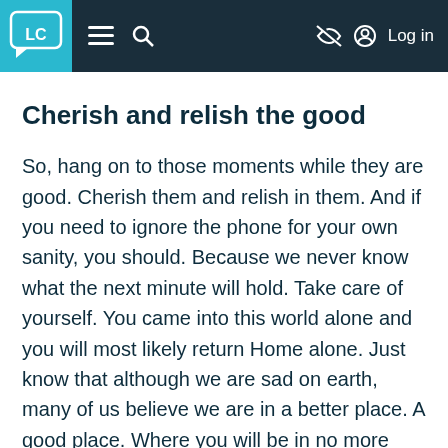LC  ≡  🔍  (eye-slash icon)  (person icon) Log in
Cherish and relish the good
So, hang on to those moments while they are good. Cherish them and relish in them. And if you need to ignore the phone for your own sanity, you should. Because we never know what the next minute will hold. Take care of yourself. You came into this world alone and you will most likely return Home alone. Just know that although we are sad on earth, many of us believe we are in a better place. A good place. Where you will be in no more